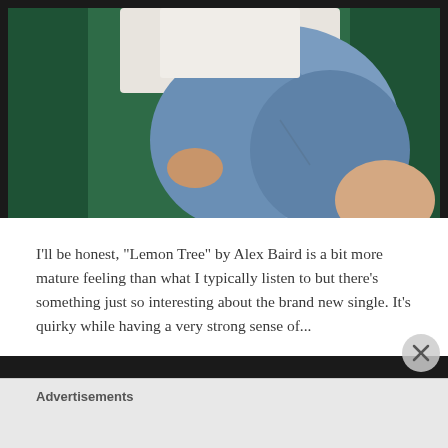[Figure (photo): Person sitting on a dark green velvet sofa wearing a white top and blue jeans, photographed from torso down, knees up]
I'll be honest, "Lemon Tree" by Alex Baird is a bit more mature feeling than what I typically listen to but there's something just so interesting about the brand new single. It's quirky while having a very strong sense of...
Advertisements